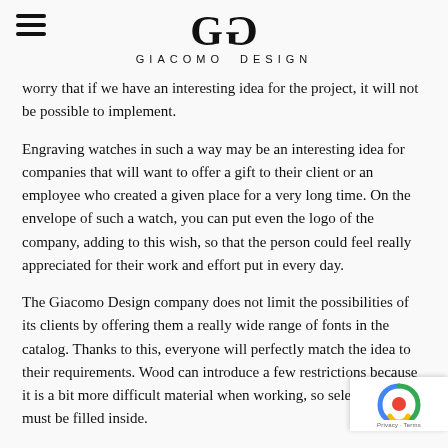GD GIACOMO DESIGN
worry that if we have an interesting idea for the project, it will not be possible to implement.
Engraving watches in such a way may be an interesting idea for companies that will want to offer a gift to their client or an employee who created a given place for a very long time. On the envelope of such a watch, you can put even the logo of the company, adding to this wish, so that the person could feel really appreciated for their work and effort put in every day.
The Giacomo Design company does not limit the possibilities of its clients by offering them a really wide range of fonts in the catalog. Thanks to this, everyone will perfectly match the idea to their requirements. Wood can introduce a few restrictions because it is a bit more difficult material when working, so selected fonts must be filled inside.